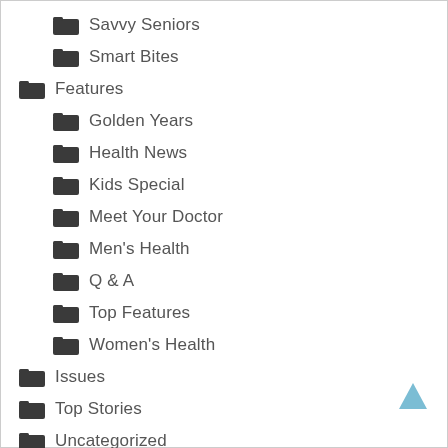Savvy Seniors
Smart Bites
Features
Golden Years
Health News
Kids Special
Meet Your Doctor
Men's Health
Q & A
Top Features
Women's Health
Issues
Top Stories
Uncategorized